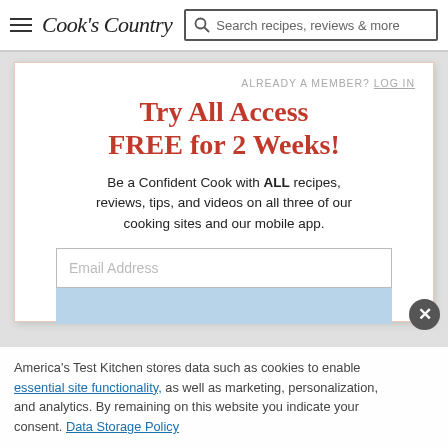Cook's Country | Search recipes, reviews & more
ALREADY A MEMBER? LOG IN
Try All Access FREE for 2 Weeks!
Be a Confident Cook with ALL recipes, reviews, tips, and videos on all three of our cooking sites and our mobile app.
Email Address
America's Test Kitchen stores data such as cookies to enable essential site functionality, as well as marketing, personalization, and analytics. By remaining on this website you indicate your consent. Data Storage Policy